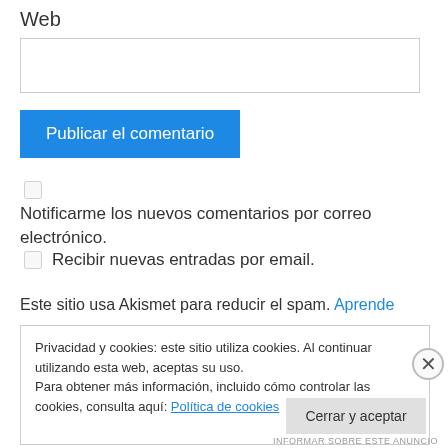Web
[input box / text field]
Publicar el comentario
Notificarme los nuevos comentarios por correo electrónico.
Recibir nuevas entradas por email.
Este sitio usa Akismet para reducir el spam. Aprende
Privacidad y cookies: este sitio utiliza cookies. Al continuar utilizando esta web, aceptas su uso.
Para obtener más información, incluido cómo controlar las cookies, consulta aquí: Política de cookies
Cerrar y aceptar
INFORMAR SOBRE ESTE ANUNCIO